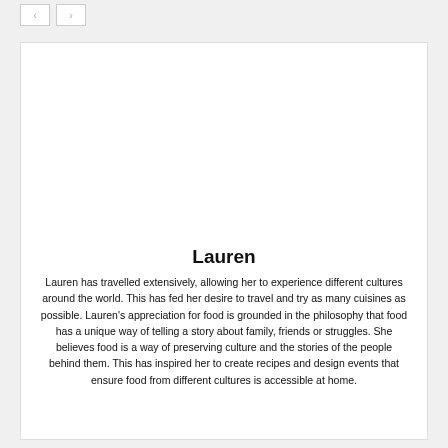[Figure (other): Navigation previous and next arrow buttons]
[Figure (photo): Profile photo area for Lauren (white/blank area at top of card)]
Lauren
Lauren has travelled extensively, allowing her to experience different cultures around the world. This has fed her desire to travel and try as many cuisines as possible. Lauren's appreciation for food is grounded in the philosophy that food has a unique way of telling a story about family, friends or struggles. She believes food is a way of preserving culture and the stories of the people behind them. This has inspired her to create recipes and design events that ensure food from different cultures is accessible at home.